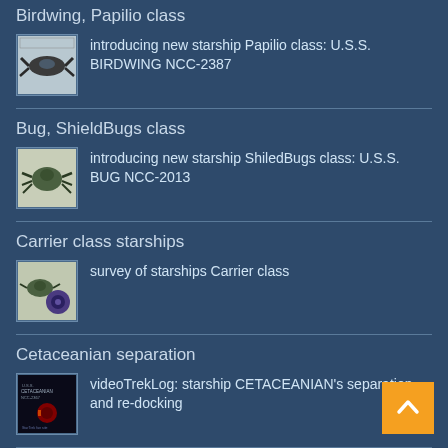Birdwing, Papilio class
introducing new starship Papilio class: U.S.S. BIRDWING NCC-2387
Bug, ShieldBugs class
introducing new starship ShiledBugs class: U.S.S. BUG NCC-2013
Carrier class starships
survey of starships Carrier class
Cetaceanian separation
videoTrekLog: starship CETACEANIAN's separation and re-docking
Cetaceanian, base ship